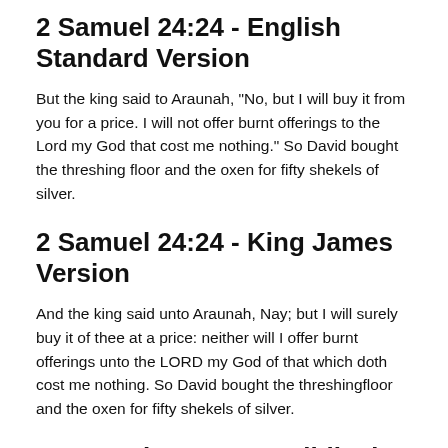2 Samuel 24:24 - English Standard Version
But the king said to Araunah, "No, but I will buy it from you for a price. I will not offer burnt offerings to the Lord my God that cost me nothing." So David bought the threshing floor and the oxen for fifty shekels of silver.
2 Samuel 24:24 - King James Version
And the king said unto Araunah, Nay; but I will surely buy it of thee at a price: neither will I offer burnt offerings unto the LORD my God of that which doth cost me nothing. So David bought the threshingfloor and the oxen for fifty shekels of silver.
2 Samuel 24:24 - La Biblia de las